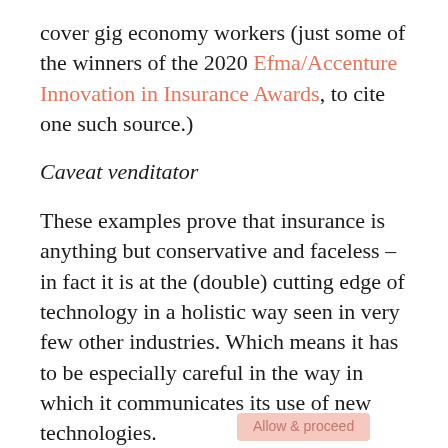cover gig economy workers (just some of the winners of the 2020 Efma/Accenture Innovation in Insurance Awards, to cite one such source.)
Caveat venditator
These examples prove that insurance is anything but conservative and faceless – in fact it is at the (double) cutting edge of technology in a holistic way seen in very few other industries. Which means it has to be especially careful in the way in which it communicates its use of new technologies.
Of [Cookie Policy] a fine line to tread: if insurers